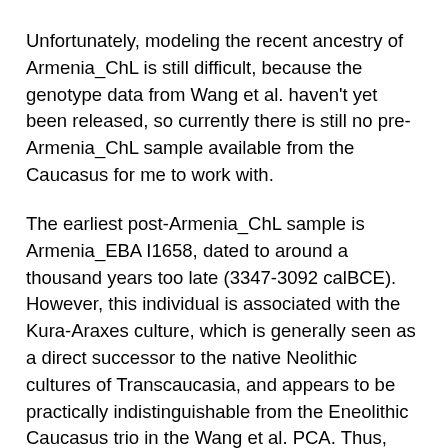Unfortunately, modeling the recent ancestry of Armenia_ChL is still difficult, because the genotype data from Wang et al. haven't yet been released, so currently there is still no pre-Armenia_ChL sample available from the Caucasus for me to work with.
The earliest post-Armenia_ChL sample is Armenia_EBA I1658, dated to around a thousand years too late (3347-3092 calBCE). However, this individual is associated with the Kura-Araxes culture, which is generally seen as a direct successor to the native Neolithic cultures of Transcaucasia, and appears to be practically indistinguishable from the Eneolithic Caucasus trio in the Wang et al. PCA. Thus, pending the release of a pre-Armenia_ChL sample I might be able to use Armenia_EBA I1658 as an effective proxy for such a population.
Below are a couple of successful two-way qpAdm mixture models for Armenia_ChL and Armenia_ChL I1634, featuring Armenia_EBA I1658 and Sredny_Stog I6561 (the output for Armenia_ChL I1409 looked wobbly, probably due to a lack of